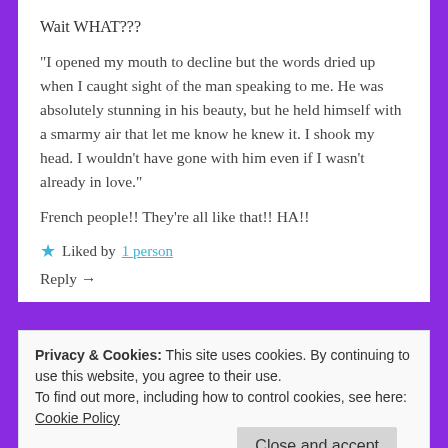Wait WHAT???
“I opened my mouth to decline but the words dried up when I caught sight of the man speaking to me. He was absolutely stunning in his beauty, but he held himself with a smarmy air that let me know he knew it. I shook my head. I wouldn’t have gone with him even if I wasn’t already in love.”
French people!! They’re all like that!! HA!!
★ Liked by 1 person
Reply →
Privacy & Cookies: This site uses cookies. By continuing to use this website, you agree to their use.
To find out more, including how to control cookies, see here:
Cookie Policy
Close and accept